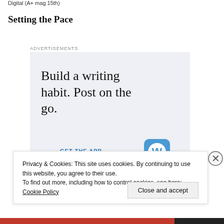Digital (A+ mag 15th)
Setting the Pace
Advertisements
[Figure (screenshot): WordPress advertisement showing 'Build a writing habit. Post on the go.' with a 'GET THE APP' call to action and WordPress logo]
Privacy & Cookies: This site uses cookies. By continuing to use this website, you agree to their use.
To find out more, including how to control cookies, see here: Cookie Policy
Close and accept